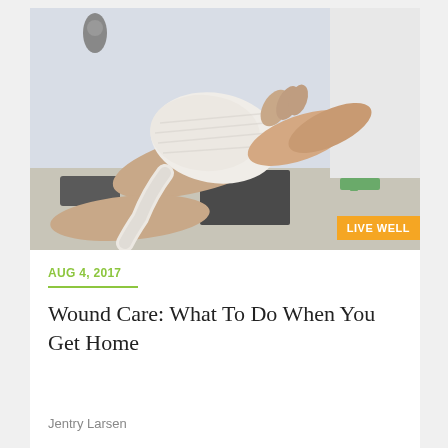[Figure (photo): A medical professional bandaging a patient's hand with white gauze wrap, clinical setting with medical equipment visible in background]
LIVE WELL
AUG 4, 2017
Wound Care: What To Do When You Get Home
Jentry Larsen